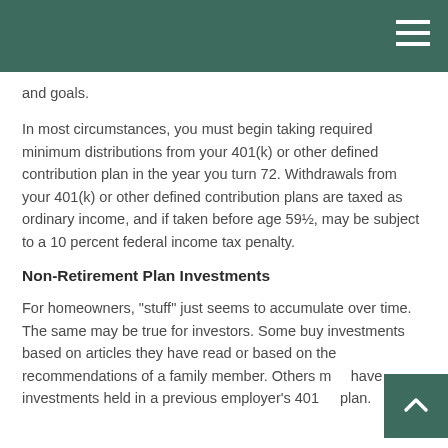and goals.
In most circumstances, you must begin taking required minimum distributions from your 401(k) or other defined contribution plan in the year you turn 72. Withdrawals from your 401(k) or other defined contribution plans are taxed as ordinary income, and if taken before age 59½, may be subject to a 10 percent federal income tax penalty.
Non-Retirement Plan Investments
For homeowners, "stuff" just seems to accumulate over time. The same may be true for investors. Some buy investments based on articles they have read or based on the recommendations of a family member. Others may have investments held in a previous employer's 401(k) plan.